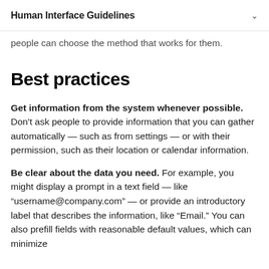Human Interface Guidelines
data people need to supply and by supporting all people can choose the method that works for them.
Best practices
Get information from the system whenever possible. Don't ask people to provide information that you can gather automatically — such as from settings — or with their permission, such as their location or calendar information.
Be clear about the data you need. For example, you might display a prompt in a text field — like “username@company.com” — or provide an introductory label that describes the information, like “Email.” You can also prefill fields with reasonable default values, which can minimize